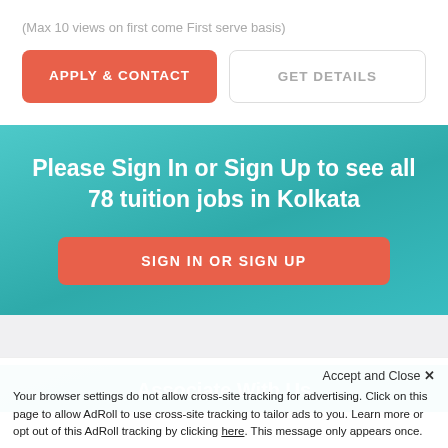(Max 10 views on first come First serve basis)
APPLY & CONTACT
GET DETAILS
Please Sign In or Sign Up to see all 78 tuition jobs in Kolkata
SIGN IN OR SIGN UP
Associate With Us
Accept and Close ✕
Your browser settings do not allow cross-site tracking for advertising. Click on this page to allow AdRoll to use cross-site tracking to tailor ads to you. Learn more or opt out of this AdRoll tracking by clicking here. This message only appears once.